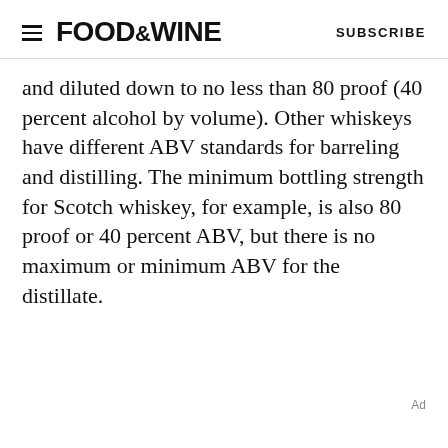FOOD&WINE  SUBSCRIBE
and diluted down to no less than 80 proof (40 percent alcohol by volume). Other whiskeys have different ABV standards for barreling and distilling. The minimum bottling strength for Scotch whiskey, for example, is also 80 proof or 40 percent ABV, but there is no maximum or minimum ABV for the distillate.
Ad